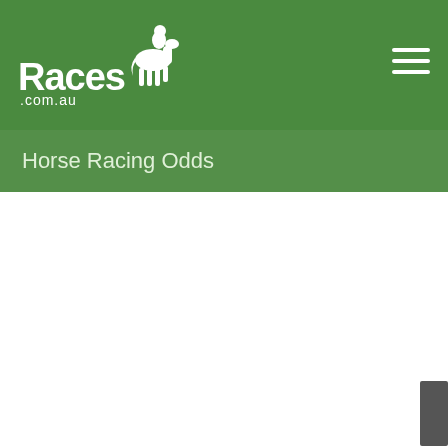Races .com.au
Horse Racing Odds